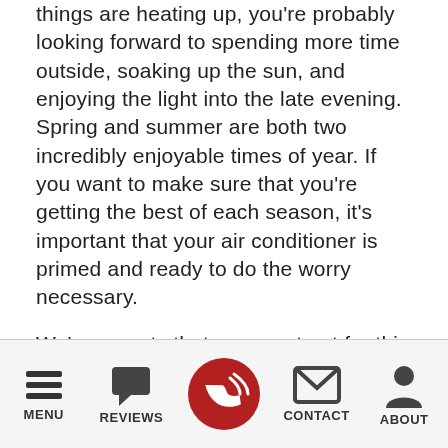things are heating up, you're probably looking forward to spending more time outside, soaking up the sun, and enjoying the light into the late evening. Spring and summer are both two incredibly enjoyable times of year. If you want to make sure that you're getting the best of each season, it's important that your air conditioner is primed and ready to do the worry necessary.

We're experts that you can trust for this because we understand air conditioning in West Monroe, LA. If you want to upgrade your air conditioning system this season, then we have all the right work you need. Today, we're going to help you identify the signs. There are quite a few that mean you need to upgrade your AC unit. Make sure you watch out for them.
MENU | REVIEWS | CALL | CONTACT | ABOUT